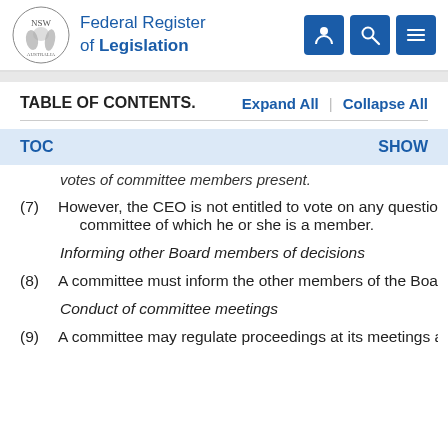Federal Register of Legislation
TABLE OF CONTENTS.
votes of committee members present.
(7) However, the CEO is not entitled to vote on any question committee of which he or she is a member.
Informing other Board members of decisions
(8) A committee must inform the other members of the Board
Conduct of committee meetings
(9) A committee may regulate proceedings at its meetings as